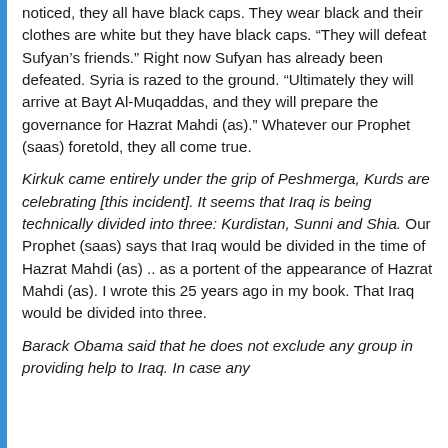noticed, they all have black caps. They wear black and their clothes are white but they have black caps. “They will defeat Sufyan’s friends.” Right now Sufyan has already been defeated. Syria is razed to the ground. “Ultimately they will arrive at Bayt Al-Muqaddas, and they will prepare the governance for Hazrat Mahdi (as).” Whatever our Prophet (saas) foretold, they all come true.
Kirkuk came entirely under the grip of Peshmerga, Kurds are celebrating [this incident]. It seems that Iraq is being technically divided into three: Kurdistan, Sunni and Shia. Our Prophet (saas) says that Iraq would be divided in the time of Hazrat Mahdi (as) .. as a portent of the appearance of Hazrat Mahdi (as). I wrote this 25 years ago in my book. That Iraq would be divided into three.
Barack Obama said that he does not exclude any group in providing help to Iraq. In case any